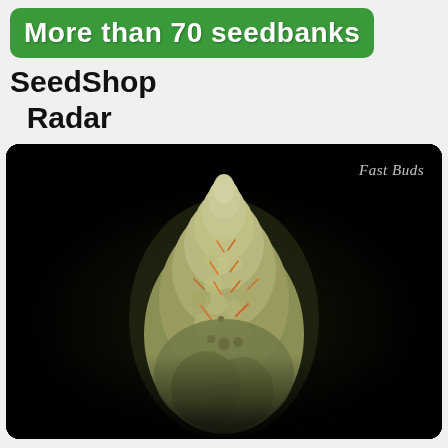[Figure (illustration): Green rounded rectangle banner with white bold text reading 'More than 70 seedbanks']
SeedShop Radar
[Figure (photo): Close-up photo of a cannabis bud (flower) against a black background, with 'Fast Buds' watermark in italic white text in the upper right corner.]